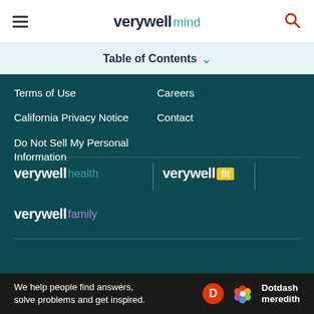verywell mind
Table of Contents
Terms of Use
Careers
California Privacy Notice
Contact
Do Not Sell My Personal Information
[Figure (logo): verywell health logo]
[Figure (logo): verywell fit logo]
[Figure (logo): verywell family logo]
Verywell Mind's content is for informational and educational purposes only. Our website is not intended to
We help people find answers, solve problems and get inspired. Dotdash meredith